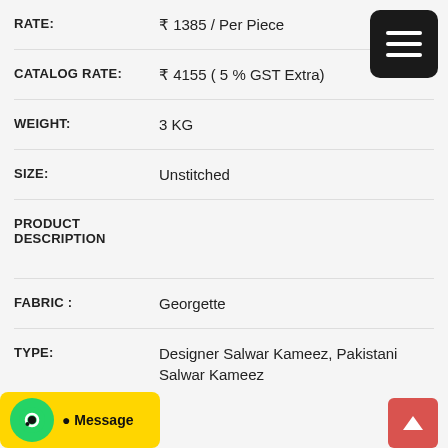| Field | Value |
| --- | --- |
| RATE: | ₹ 1385 / Per Piece |
| CATALOG RATE: | ₹ 4155 ( 5 % GST Extra) |
| WEIGHT: | 3 KG |
| SIZE: | Unstitched |
| PRODUCT DESCRIPTION |  |
| FABRIC : | Georgette |
| TYPE: | Designer Salwar Kameez, Pakistani Salwar Kameez |